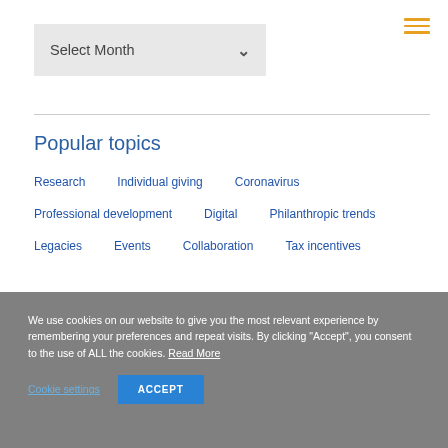Select Month
Popular topics
Research
Individual giving
Coronavirus
Professional development
Digital
Philanthropic trends
Legacies
Events
Collaboration
Tax incentives
We use cookies on our website to give you the most relevant experience by remembering your preferences and repeat visits. By clicking “Accept”, you consent to the use of ALL the cookies. Read More
Cookie settings
ACCEPT